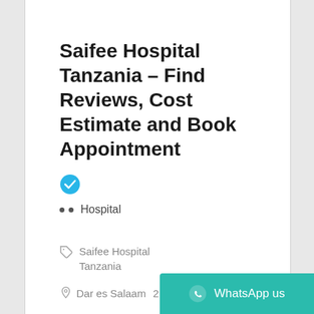Saifee Hospital Tanzania – Find Reviews, Cost Estimate and Book Appointment
[Figure (other): Blue verified checkmark badge icon]
• • Hospital
Saifee Hospital Tanzania
Dar es Salaam
WhatsApp us